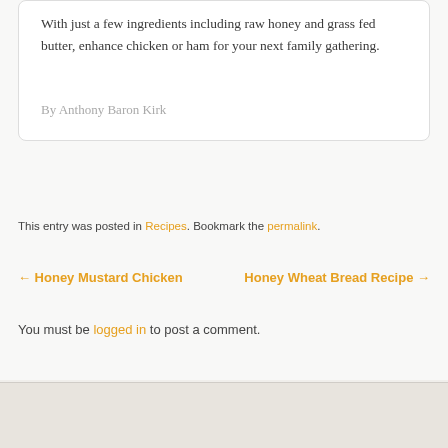With just a few ingredients including raw honey and grass fed butter, enhance chicken or ham for your next family gathering.
By Anthony Baron Kirk
This entry was posted in Recipes. Bookmark the permalink.
← Honey Mustard Chicken
Honey Wheat Bread Recipe →
You must be logged in to post a comment.